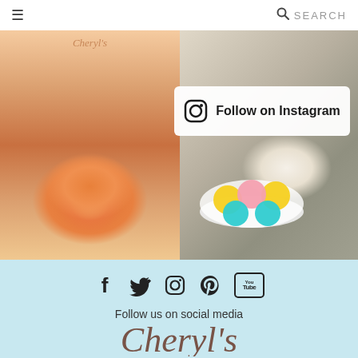≡  SEARCH
[Figure (photo): Person in floral dress holding orange macarons in cupped hands (left photo)]
[Figure (photo): Bowl of colorful frosted cookies/cupcakes with striped gift box in background and wine glasses (right photo)]
Follow on Instagram
[Figure (infographic): Social media icons row: Facebook, Twitter, Instagram, Pinterest, YouTube]
Follow us on social media
[Figure (logo): Cheryl's bakery logo in cursive brown script at bottom]